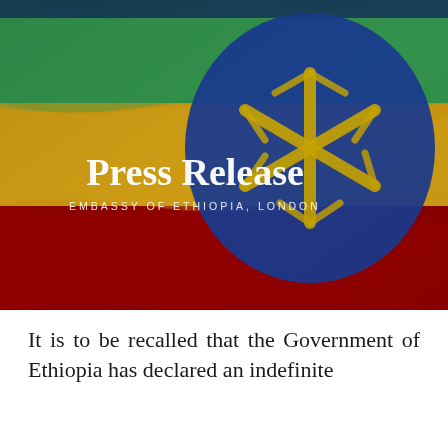[Figure (photo): Ethiopian flag banner with green, yellow, and red horizontal stripes and a blue circular emblem with a gold star, overlaid with 'Press Release' title text and 'Embassy of Ethiopia, London' subtitle]
Press Release
EMBASSY OF ETHIOPIA, LONDON
It is to be recalled that the Government of Ethiopia has declared an indefinite